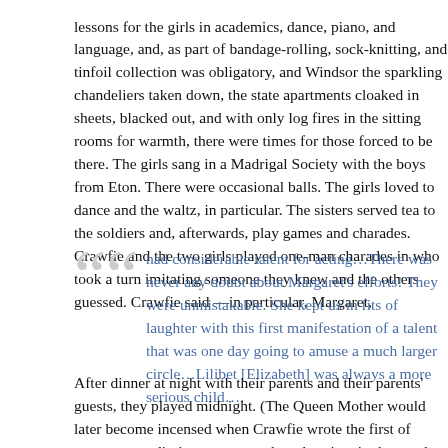lessons for the girls in academics, dance, piano, and language, and, as part of bandage-rolling, sock-knitting, and tinfoil collection was obligatory, and Windsor the sparkling chandeliers taken down, the state apartments cloaked in sheets, blacked out, and with only log fires in the sitting rooms for warmth, there were times for those forced to be there. The girls sang in a Madrigal Society with the boys from Eton. There were occasional balls. The girls loved to dance and the waltz, in particular. The sisters served tea to the soldiers and, afterwards, play games and charades. Crawfie and the two girls played one-man charades in w took a turn imitating someone they knew and the others guessed. Crawfie said —in particular, Margaret,
had considerable talent for acting…There was never any doubt about Margaret's efforts! They were unmistakable. She kept us in fits of laughter with this first manifestation of a talent that was one day going to amuse a much larger circle…Lilibet [Elizabeth] was always a more serious child….
After dinner at night with their parents and their parents' guests, they played m until midnight. (The Queen Mother would later become incensed when Crawfie the first of many nanny diaries to come—about her time in the royal household wanted to include in her tell-all about a night of charades when the Duchess o pulling a lavatory chain—flushing a toilet—as a clue to the phrase, "royal flush Mother insisted that Crawfie had violated the terms of her employment. Crawf